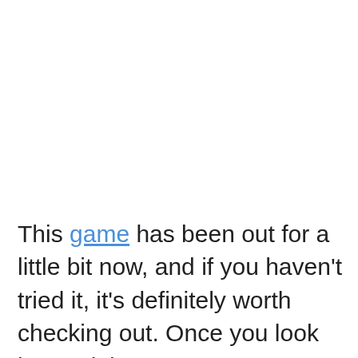This game has been out for a little bit now, and if you haven't tried it, it's definitely worth checking out. Once you look beyond the IAP-nonsense, you'll see a very capable MMO game with incredible graphics. Build your kingdom and fight enemies in a stunning fantasy world, equip colossal warriors with powerful gear and lead